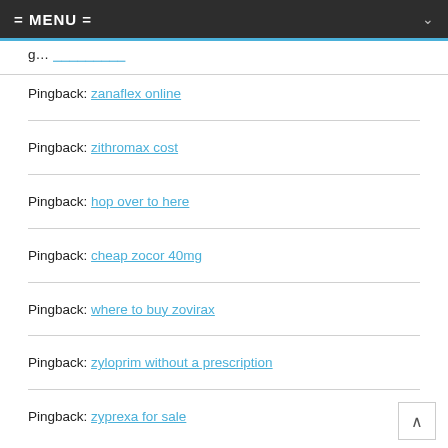= MENU =
Pingback: [partial link]
Pingback: zanaflex online
Pingback: zithromax cost
Pingback: hop over to here
Pingback: cheap zocor 40mg
Pingback: where to buy zovirax
Pingback: zyloprim without a prescription
Pingback: zyprexa for sale